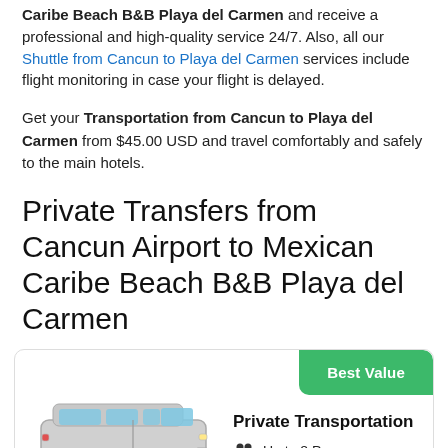Caribe Beach B&B Playa del Carmen and receive a professional and high-quality service 24/7. Also, all our Shuttle from Cancun to Playa del Carmen services include flight monitoring in case your flight is delayed.
Get your Transportation from Cancun to Playa del Carmen from $45.00 USD and travel comfortably and safely to the main hotels.
Private Transfers from Cancun Airport to Mexican Caribe Beach B&B Playa del Carmen
[Figure (other): Card showing a silver van with Best Value badge, Private Transportation label, Up to 8 Pax, Up to 7 Suitcase, Price per vehicle NOT per person]
Private Transportation
Up to 8 Pax.
Up to 7 Suitcase
Price per vehicle NOT per person